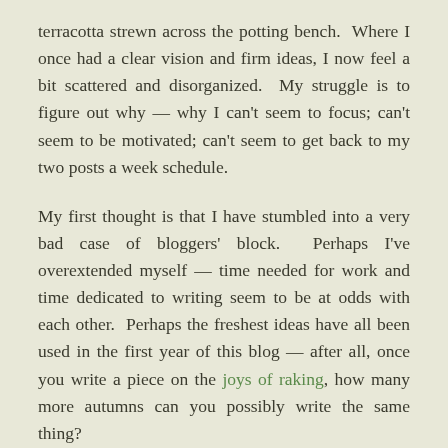terracotta strewn across the potting bench.  Where I once had a clear vision and firm ideas, I now feel a bit scattered and disorganized.  My struggle is to figure out why — why I can't seem to focus; can't seem to be motivated; can't seem to get back to my two posts a week schedule.
My first thought is that I have stumbled into a very bad case of bloggers' block.  Perhaps I've overextended myself — time needed for work and time dedicated to writing seem to be at odds with each other.  Perhaps the freshest ideas have all been used in the first year of this blog — after all, once you write a piece on the joys of raking, how many more autumns can you possibly write the same thing?
Then, just as I try to make sense of all these thoughts